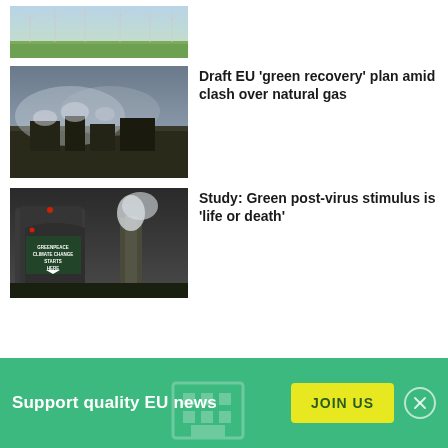[Figure (photo): Wind turbines on green fields, aerial view]
[Figure (photo): Aerial view of coal mining facility with smoke]
Draft EU 'green recovery' plan amid clash over natural gas
[Figure (photo): Greenpeace protest at power plant cooling towers with Climate Change Starts Here projection]
Study: Green post-virus stimulus is 'life or death'
Support quality EU news
JOIN US